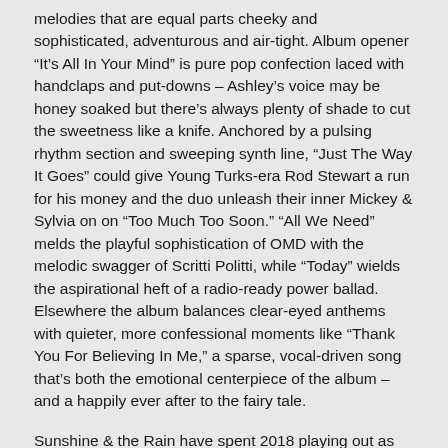melodies that are equal parts cheeky and sophisticated, adventurous and air-tight. Album opener “It’s All In Your Mind” is pure pop confection laced with handclaps and put-downs – Ashley’s voice may be honey soaked but there’s always plenty of shade to cut the sweetness like a knife. Anchored by a pulsing rhythm section and sweeping synth line, “Just The Way It Goes” could give Young Turks-era Rod Stewart a run for his money and the duo unleash their inner Mickey & Sylvia on on “Too Much Too Soon.” “All We Need” melds the playful sophistication of OMD with the melodic swagger of Scritti Politti, while “Today” wields the aspirational heft of a radio-ready power ballad. Elsewhere the album balances clear-eyed anthems with quieter, more confessional moments like “Thank You For Believing In Me,” a sparse, vocal-driven song that’s both the emotional centerpiece of the album – and a happily ever after to the fairy tale.
Sunshine & the Rain have spent 2018 playing out as often as possible, including support slots with the Psychedelic Furs and Ron Gallo.
Beneath the Stars is out Autumn 2018 on Ernest Jenning.